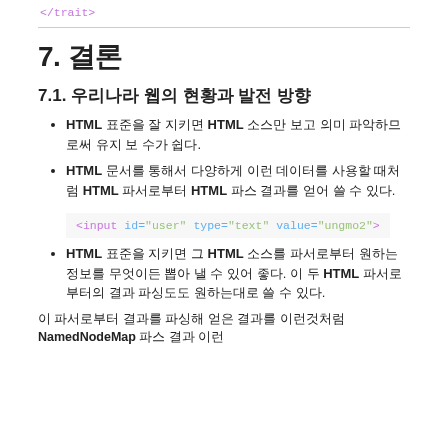</trait>
7. 결론
7.1. 우리나라 웹의 현황과 발전 방향
HTML 표준을 잘 지키면 HTML 소스만 보고 의미 파악하므로써 유지 보 수가 쉽다.
HTML 문서를 통해서 다양하게 이런 데이터를 사용할 때처럼 HTML 파서로부터 HTML 파스 결과를 얻어 쓸 수 있다.
<input id="user" type="text" value="ungmo2">
HTML 표준을 지키면 그 HTML 소스를 파서로부터 원하는 정보를 무엇이든 뽑아 낼 수 있어 좋다. 이 두 HTML 파서로부터의 결과 파싱도도 원하는대로 쓸 수 있다.
이 파서로부터 결과를 파싱해 얻은 결과를 이런것처럼 NamedNodeMap 파스 결과 이런